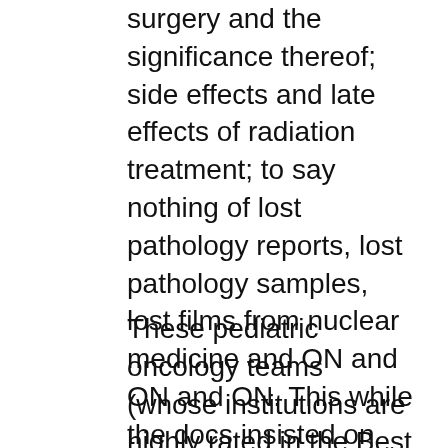surgery and the significance thereof; side effects and late effects of radiation treatment; to say nothing of lost pathology reports, lost pathology samples, lost films from nuclear medicine and ON and ON and ON. This while the docs insisted on referring to me as “the mom,” dragging an already traumatized child into hair-raising appointments and dumbed down meetings, discouraging (and resentful of) outside expertise.
These pediatric oncology teams (whose institutions are highly rated in the Best Hospitals edition of US News & World Report) were appalled that a patient would research their credentials or publications, dismissive of the suggestion that they might want to list their credentials on a website. They were